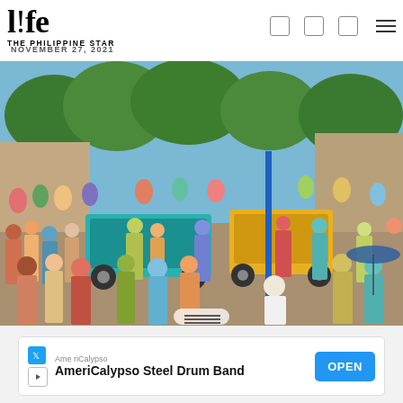l!fe THE PHILIPPINE STAR NOVEMBER 27, 2021
[Figure (photo): A dense crowd of people in a busy street market scene with colorful clothing, trees in the background, and auto-rickshaws/vehicles visible among the crowd.]
AmeriCalypso
AmeriCalypso Steel Drum Band
OPEN